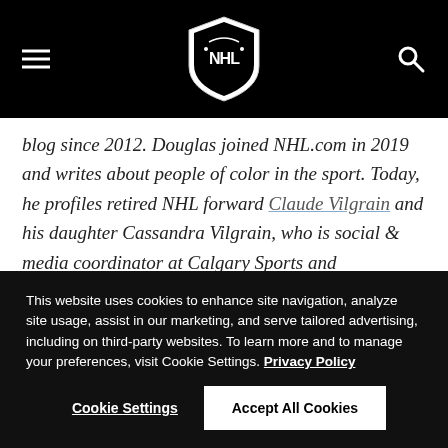NHL logo header with navigation
blog since 2012. Douglas joined NHL.com in 2019 and writes about people of color in the sport. Today, he profiles retired NHL forward Claude Vilgrain and his daughter Cassandra Vilgrain, who is social & media coordinator at Calgary Sports and Entertainment Corporation, the parent company of the Calgary Flames.
This website uses cookies to enhance site navigation, analyze site usage, assist in our marketing, and serve tailored advertising, including on third-party websites. To learn more and to manage your preferences, visit Cookie Settings. Privacy Policy
Cookie Settings   Accept All Cookies